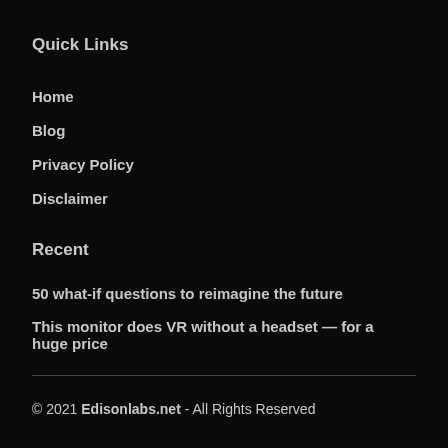Quick Links
Home
Blog
Privacy Policy
Disclaimer
Recent
50 what-if questions to reimagine the future
This monitor does VR without a headset — for a huge price
© 2021 Edisonlabs.net - All Rights Reserved